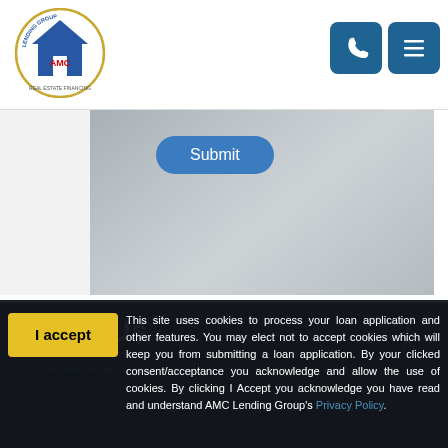[Figure (logo): AMC Lending Group logo — circular emblem with house icon and text 'LENDING GROUP AMC']
[Figure (screenshot): Phone and hamburger menu icon buttons in blue rounded square style]
[Figure (photo): Gray/beige blurred background hero image with a Submit button overlay]
About Us
We've been customer-focused and community-driven for many years... love what we do
Company | Privacy Policy | Services
Admin Login
This site uses cookies to process your loan application and other features. You may elect not to accept cookies which will keep you from submitting a loan application. By your clicked consent/acceptance you acknowledge and allow the use of cookies. By clicking I Accept you acknowledge you have read and understand AMC Lending Group's Privacy Policy.